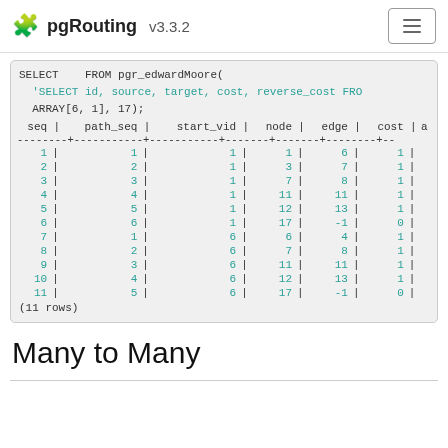pgRouting v3.3.2
SELECT    FROM pgr_edwardMoore(
  'SELECT id, source, target, cost, reverse_cost FRO
  ARRAY[6, 1], 17);
| seq | path_seq | start_vid | node | edge | cost | a |
| --- | --- | --- | --- | --- | --- | --- |
| 1 | 1 | 1 | 1 | 6 | 1 |
| 2 | 2 | 1 | 3 | 7 | 1 |
| 3 | 3 | 1 | 7 | 8 | 1 |
| 4 | 4 | 1 | 11 | 11 | 1 |
| 5 | 5 | 1 | 12 | 13 | 1 |
| 6 | 6 | 1 | 17 | -1 | 0 |
| 7 | 1 | 6 | 6 | 4 | 1 |
| 8 | 2 | 6 | 7 | 8 | 1 |
| 9 | 3 | 6 | 11 | 11 | 1 |
| 10 | 4 | 6 | 12 | 13 | 1 |
| 11 | 5 | 6 | 17 | -1 | 0 |
(11 rows)
Many to Many